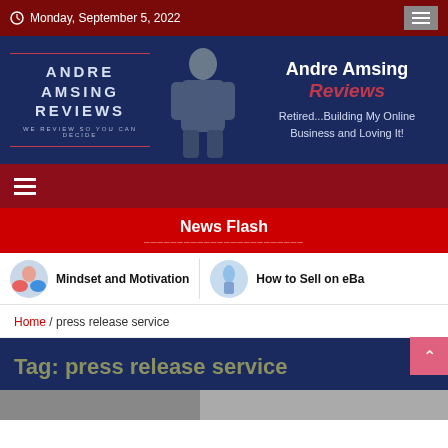Monday, September 5, 2022
[Figure (logo): Andre Amsing Reviews banner with site logo text, person photo, and tagline 'Retired...Building My Online Business and Loving It!']
[Figure (other): Navigation hamburger menu bar in dark red]
News Flash
Mindset and Motivation
How to Sell on eBa...
Home / press release service
Tag: press release service